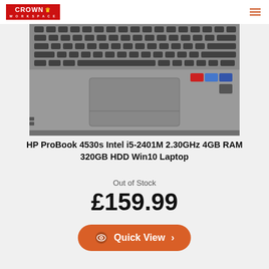Crown Workspace
[Figure (photo): Close-up photo of HP ProBook 4530s laptop keyboard and trackpad, silver/grey body, viewed from above at an angle]
HP ProBook 4530s Intel i5-2401M 2.30GHz 4GB RAM 320GB HDD Win10 Laptop
Out of Stock
£159.99
Quick View